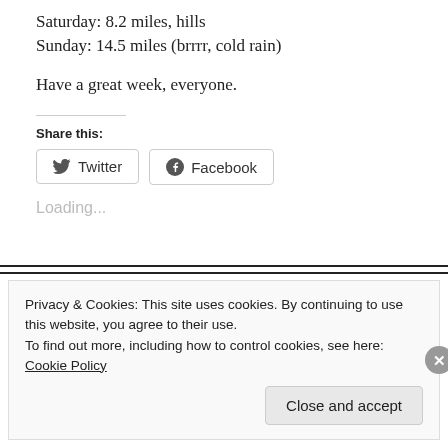Saturday: 8.2 miles, hills
Sunday: 14.5 miles (brrrr, cold rain)
Have a great week, everyone.
Share this:
Loading...
Privacy & Cookies: This site uses cookies. By continuing to use this website, you agree to their use.
To find out more, including how to control cookies, see here:
Cookie Policy
Close and accept